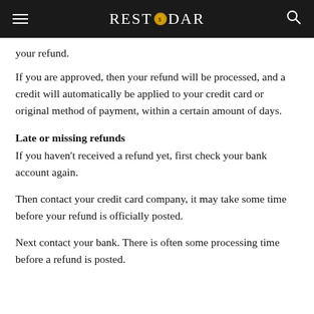RESTODAR
your refund.
If you are approved, then your refund will be processed, and a credit will automatically be applied to your credit card or original method of payment, within a certain amount of days.
Late or missing refunds
If you haven't received a refund yet, first check your bank account again.
Then contact your credit card company, it may take some time before your refund is officially posted.
Next contact your bank. There is often some processing time before a refund is posted.